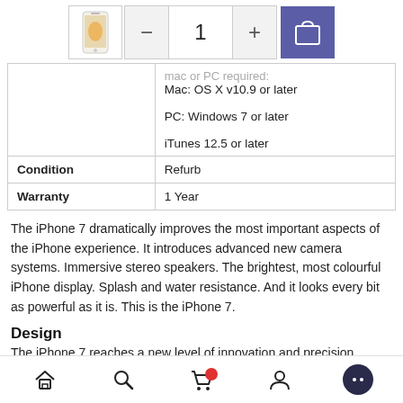[Figure (screenshot): Product quantity selector with minus/plus buttons showing quantity 1, and a blue shopping bag/cart button. A small iPhone product thumbnail is shown on the left.]
|  | mac or PC required:
Mac: OS X v10.9 or later
PC: Windows 7 or later
iTunes 12.5 or later |
| Condition | Refurb |
| Warranty | 1 Year |
The iPhone 7 dramatically improves the most important aspects of the iPhone experience. It introduces advanced new camera systems. Immersive stereo speakers. The brightest, most colourful iPhone display. Splash and water resistance. And it looks every bit as powerful as it is. This is the iPhone 7.
Design
The iPhone 7 reaches a new level of innovation and precision.
Home | Search | Cart | Account | More